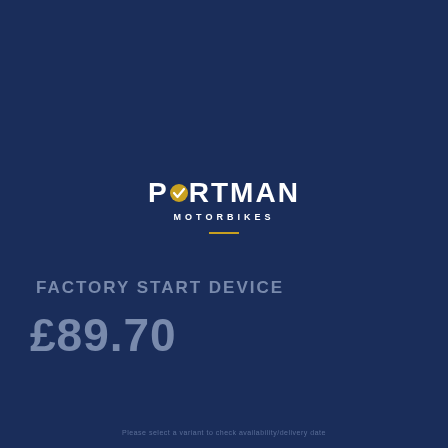[Figure (logo): Portman Motorbikes logo with checkmark inside the O letter, white text on dark blue background, gold/yellow accent]
FACTORY START DEVICE
£89.70
Please select a variant to check availability/delivery date